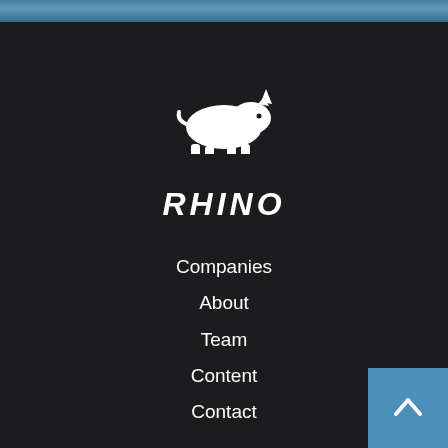[Figure (logo): White rhino silhouette logo icon]
RHINO
Companies
About
Team
Content
Contact
FOLLOW US
[Figure (illustration): Social media icons: Twitter bird, LinkedIn in, Product Hunt cat, Medium M]
[Figure (illustration): Back to top button - blue square with upward chevron arrow]